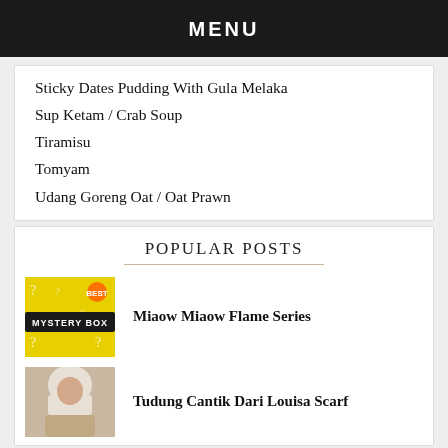MENU
Sticky Dates Pudding With Gula Melaka
Sup Ketam / Crab Soup
Tiramisu
Tomyam
Udang Goreng Oat / Oat Prawn
POPULAR POSTS
[Figure (photo): Yellow mystery box with question marks and a dark 'MYSTERY BOX' label]
Miaow Miaow Flame Series
[Figure (photo): Person wearing a hijab / headscarf]
Tudung Cantik Dari Louisa Scarf